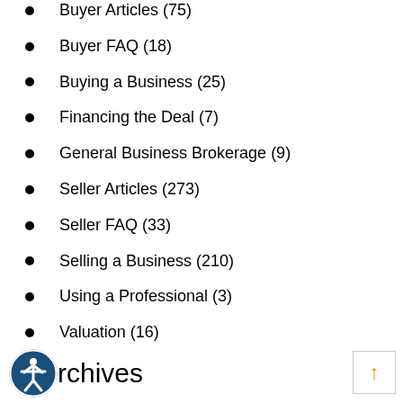Buyer Articles (75)
Buyer FAQ (18)
Buying a Business (25)
Financing the Deal (7)
General Business Brokerage (9)
Seller Articles (273)
Seller FAQ (33)
Selling a Business (210)
Using a Professional (3)
Valuation (16)
Archives